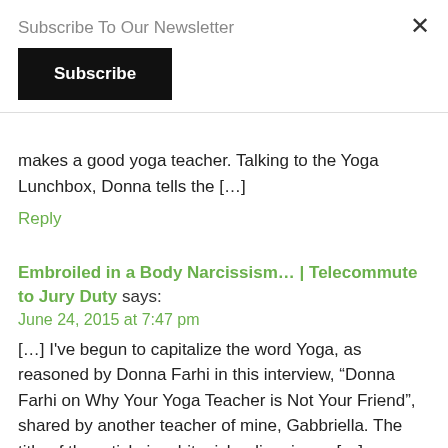Subscribe To Our Newsletter
Subscribe
makes a good yoga teacher. Talking to the Yoga Lunchbox, Donna tells the [...]
Reply
Embroiled in a Body Narcissism... | Telecommute to Jury Duty says:
June 24, 2015 at 7:47 pm
[...] I've begun to capitalize the word Yoga, as reasoned by Donna Farhi in this interview, “Donna Farhi on Why Your Yoga Teacher is Not Your Friend”, shared by another teacher of mine, Gabbriella. The title of the article is a bit misleading, in my [...]